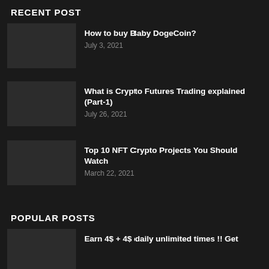RECENT POST
How to buy Baby DogeCoin? | July 3, 2021
What is Crypto Futures Trading explained (Part-1) | July 26, 2021
Top 10 NFT Crypto Projects You Should Watch | March 22, 2021
POPULAR POSTS
Earn 4$ + 4$ daily unlimited times !! Get...